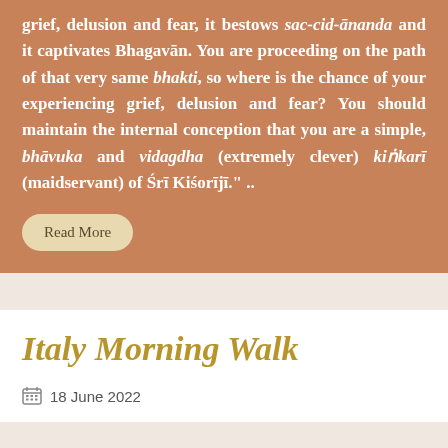grief, delusion and fear, it bestows sac-cid-ānanda and it captivates Bhagavān. You are proceeding on the path of that very same bhakti, so where is the chance of your experiencing grief, delusion and fear? You should maintain the internal conception that you are a simple, bhāvuka and vidagdha (extremely clever) kiṅkarī (maidservant) of Śrī Kiśorījī." ..
Read More
Italy Morning Walk
18 June 2022